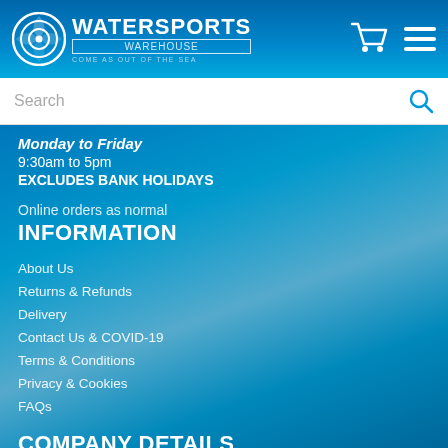[Figure (logo): Watersports Warehouse logo with circular wave icon and tagline 'Come as out of the sea']
Search
Monday to Friday
9:30am to 5pm
EXCLUDES BANK HOLIDAYS
Online orders as normal
INFORMATION
About Us
Returns & Refunds
Delivery
Contact Us & COVID-19
Terms & Conditions
Privacy & Cookies
FAQs
COMPANY DETAILS